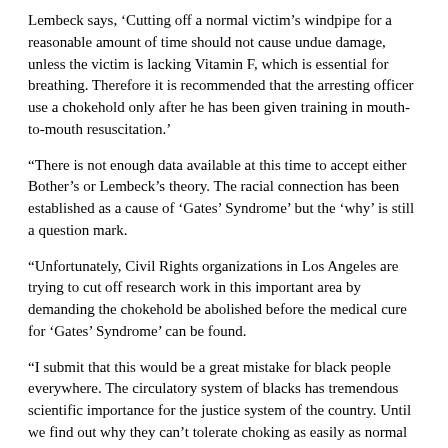Lembeck says, ‘Cutting off a normal victim’s windpipe for a reasonable amount of time should not cause undue damage, unless the victim is lacking Vitamin F, which is essential for breathing. Therefore it is recommended that the arresting officer use a chokehold only after he has been given training in mouth-to-mouth resuscitation.’
“There is not enough data available at this time to accept either Bother’s or Lembeck’s theory. The racial connection has been established as a cause of ‘Gates’ Syndrome’ but the ‘why’ is still a question mark.
“Unfortunately, Civil Rights organizations in Los Angeles are trying to cut off research work in this important area by demanding the chokehold be abolished before the medical cure for ‘Gates’ Syndrome’ can be found.
“I submit that this would be a great mistake for black people everywhere. The circulatory system of blacks has tremendous scientific importance for the justice system of the country. Until we find out why they can’t tolerate choking as easily as normal white people, the mystery of black fatalities in Los Angeles will never be solved.”
*****